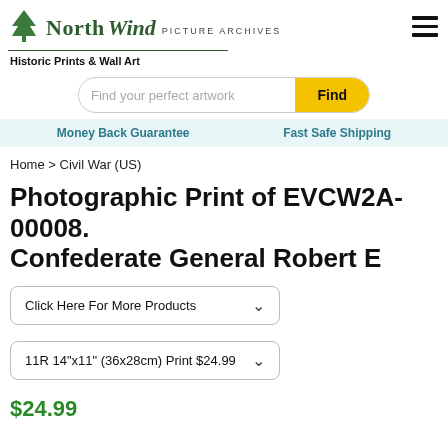North Wind PICTURE ARCHIVES — Historic Prints & Wall Art
Find your perfect artwork
Money Back Guarantee   Fast Safe Shipping
Home > Civil War (US)
Photographic Print of EVCW2A-00008. Confederate General Robert E
Click Here For More Products
11R 14"x11" (36x28cm) Print $24.99
$24.99